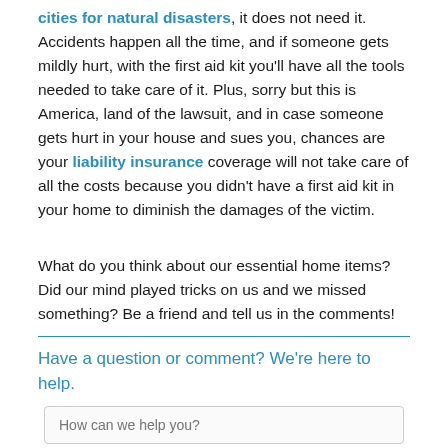cities for natural disasters, it does not need it. Accidents happen all the time, and if someone gets mildly hurt, with the first aid kit you'll have all the tools needed to take care of it. Plus, sorry but this is America, land of the lawsuit, and in case someone gets hurt in your house and sues you, chances are your liability insurance coverage will not take care of all the costs because you didn't have a first aid kit in your home to diminish the damages of the victim.
What do you think about our essential home items? Did our mind played tricks on us and we missed something? Be a friend and tell us in the comments!
Have a question or comment? We're here to help.
How can we help you?